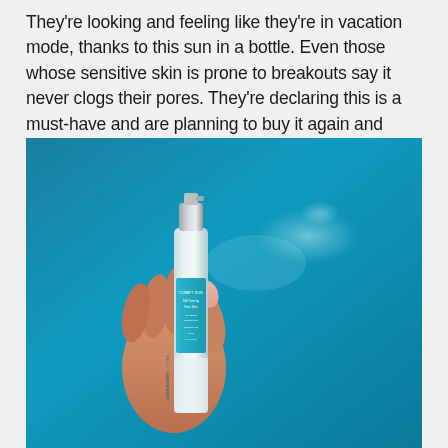They're looking and feeling like they're in vacation mode, thanks to this sun in a bottle. Even those whose sensitive skin is prone to breakouts say it never clogs their pores. They're declaring this is a must-have and are planning to buy it again and again!
[Figure (photo): A hand holding a small spray bottle of self-tan product against a teal/blue background. A fine mist spray is visible coming from the bottle nozzle. The bottle label reads 'COMET SUN' and 'SELF TAN PURITY BODY 2/1 PROJECT'.]